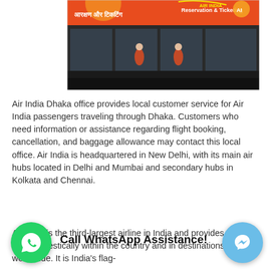[Figure (photo): Air India reservation and ticketing office storefront with Hindi and English signage reading 'Reservation & Ticketing', red banner with Air India logo and text in Hindi 'आरक्षण और टिकटिंग'.]
Air India Dhaka office provides local customer service for Air India passengers traveling through Dhaka. Customers who need information or assistance regarding flight booking, cancellation, and baggage allowance may contact this local office. Air India is headquartered in New Delhi, with its main air hubs located in Delhi and Mumbai and secondary hubs in Kolkata and Chennai.
Air India is the third-largest airline in India and provides service both domestically within the country and in destinations worldwide. It is India's flag-
[Figure (infographic): WhatsApp floating action button (green circle with white WhatsApp icon) at bottom left. Messenger floating button (light blue circle with white lightning bolt/chat icon) at bottom right. Text overlay: 'Call WhatsApp Assistance!']